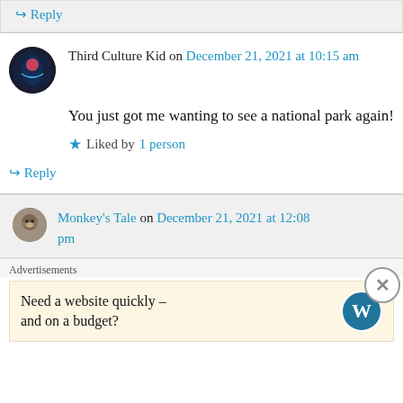↳ Reply
Third Culture Kid on December 21, 2021 at 10:15 am
You just got me wanting to see a national park again!
Liked by 1 person
↳ Reply
Monkey's Tale on December 21, 2021 at 12:08 pm
Advertisements
Need a website quickly – and on a budget?